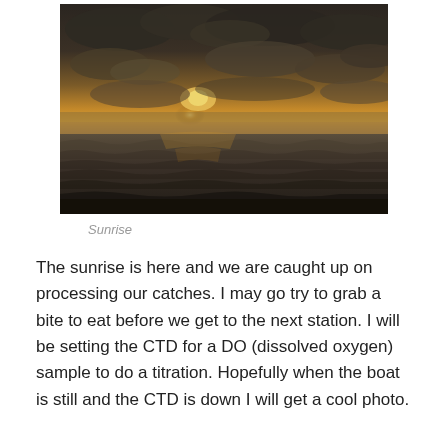[Figure (photo): Photograph of a sunrise over the ocean. The sky shows warm orange and yellow tones near the horizon where the sun is partially obscured by clouds, with darker clouds above. The ocean surface shows rippled waves in dark tones.]
Sunrise
The sunrise is here and we are caught up on processing our catches. I may go try to grab a bite to eat before we get to the next station. I will be setting the CTD for a DO (dissolved oxygen) sample to do a titration. Hopefully when the boat is still and the CTD is down I will get a cool photo.